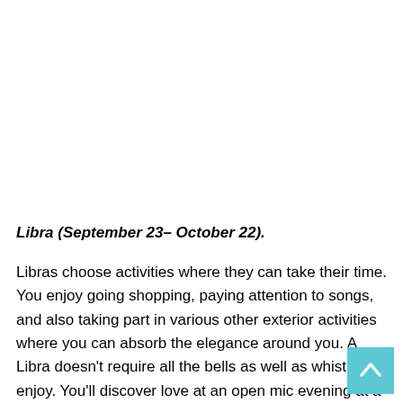Libra (September 23– October 22).
Libras choose activities where they can take their time. You enjoy going shopping, paying attention to songs, and also taking part in various other exterior activities where you can absorb the elegance around you. A Libra doesn't require all the bells as well as whistles to enjoy. You'll discover love at an open mic evening at a neighborhood coffee shop on a Thursday evening.